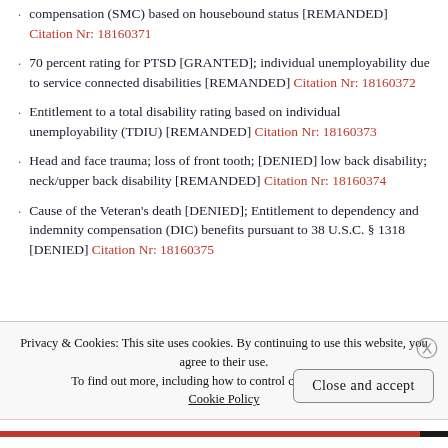compensation (SMC) based on housebound status [REMANDED] Citation Nr: 18160371
70 percent rating for PTSD [GRANTED]; individual unemployability due to service connected disabilities [REMANDED] Citation Nr: 18160372
Entitlement to a total disability rating based on individual unemployability (TDIU) [REMANDED] Citation Nr: 18160373
Head and face trauma; loss of front tooth; [DENIED] low back disability; neck/upper back disability [REMANDED] Citation Nr: 18160374
Cause of the Veteran's death [DENIED]; Entitlement to dependency and indemnity compensation (DIC) benefits pursuant to 38 U.S.C. § 1318 [DENIED] Citation Nr: 18160375
Privacy & Cookies: This site uses cookies. By continuing to use this website, you agree to their use. To find out more, including how to control cookies, see here: Cookie Policy